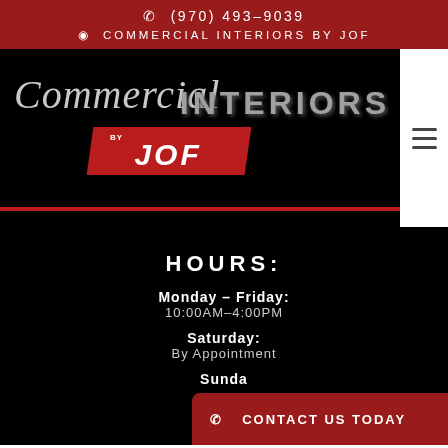📞 (970) 493-9039  📍 COMMERCIAL INTERIORS BY JOF
[Figure (logo): Commercial Interiors by JOF logo on black background with red accent and red bottom line]
HOURS:
Monday – Friday:
10:00AM-4:00PM
Saturday:
By Appointment
Sunda...
📞 CONTACT US TODAY